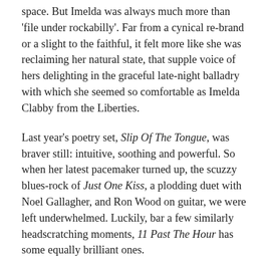space. But Imelda was always much more than 'file under rockabilly'. Far from a cynical re-brand or a slight to the faithful, it felt more like she was reclaiming her natural state, that supple voice of hers delighting in the graceful late-night balladry with which she seemed so comfortable as Imelda Clabby from the Liberties.
Last year's poetry set, Slip Of The Tongue, was braver still: intuitive, soothing and powerful. So when her latest pacemaker turned up, the scuzzy blues-rock of Just One Kiss, a plodding duet with Noel Gallagher, and Ron Wood on guitar, we were left underwhelmed. Luckily, bar a few similarly headscratching moments, 11 Past The Hour has some equally brilliant ones.
The title track is soulful and sultry, filmic and noir, the drowsy rhythm dragging its feet as she implores her broken lover to "Dance with me darling/ forget the world". When its ferocious